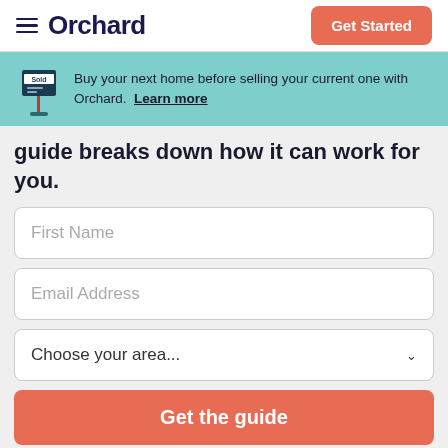Orchard — Get Started
[Figure (infographic): Teal banner with a 'Sold' sign icon and text: Buy your next home before selling your current one with Orchard. Learn more]
guide breaks down how it can work for you.
First Name
Email Address
Choose your area...
Get the guide